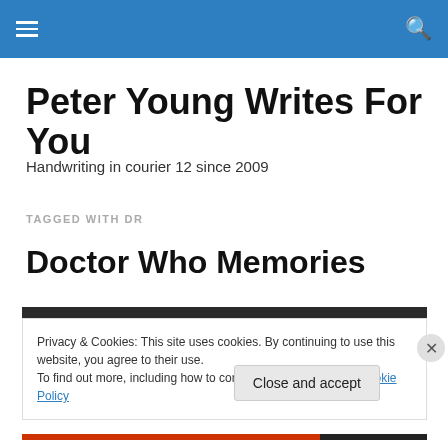Peter Young Writes For You — navigation bar
Peter Young Writes For You
Handwriting in courier 12 since 2009
TAGGED WITH DR
Doctor Who Memories
Privacy & Cookies: This site uses cookies. By continuing to use this website, you agree to their use.
To find out more, including how to control cookies, see here: Cookie Policy
Close and accept